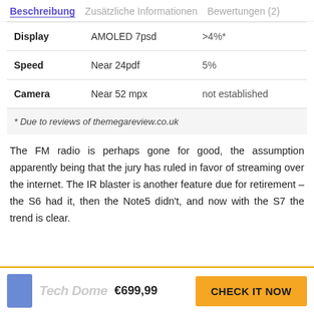Beschreibung   Zusätzliche Informationen   Bewertungen (2)
|  |  |  |
| --- | --- | --- |
| Display | AMOLED 7psd | >4%* |
| Speed | Near 24pdf | 5% |
| Camera | Near 52 mpx | not established |
| * Due to reviews of themegareview.co.uk |  |  |
The FM radio is perhaps gone for good, the assumption apparently being that the jury has ruled in favor of streaming over the internet. The IR blaster is another feature due for retirement – the S6 had it, then the Note5 didn't, and now with the S7 the trend is clear.
€699,99   CHECK IT NOW